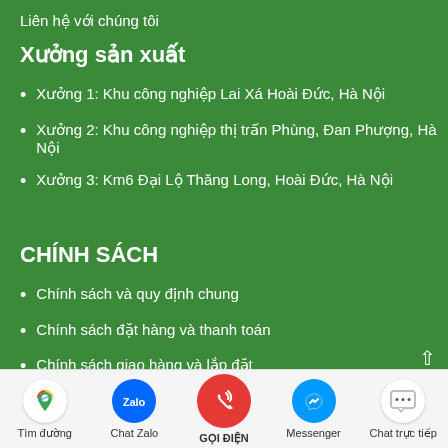Liên hệ với chúng tôi
Xưởng sản xuất
Xưởng 1: Khu công nghiệp Lai Xá Hoài Đức, Hà Nội
Xưởng 2: Khu công nghiệp thị trấn Phùng, Đan Phượng, Hà Nội
Xưởng 3: Km6 Đại Lộ Thăng Long, Hoài Đức, Hà Nội
CHÍNH SÁCH
Chính sách và quy định chung
Chính sách đặt hàng và thanh toán
Chính sách giao hàng và lắp đặt
Chính sách đổi trả và bảo hành
[Figure (infographic): Bottom navigation bar with icons: Google Maps (Tìm đường), Zalo (Chat Zalo), Phone call button (GỌI ĐIỆN), Messenger, Chat trực tiếp]